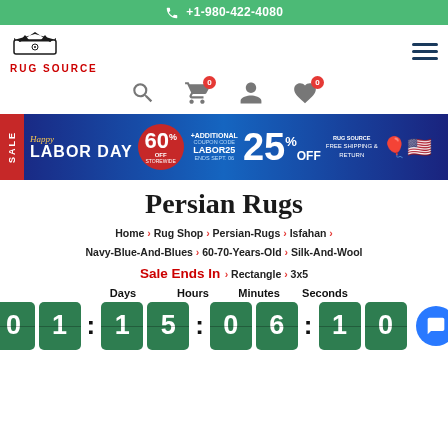+1-980-422-4080
[Figure (logo): Rug Source crown logo with text RUG SOURCE in red]
[Figure (infographic): Navigation icons: search, cart (0), user, wishlist (0)]
[Figure (infographic): Labor Day Sale banner: 60% off storewide + additional 25% off with coupon code LABOR25, ends Sept 06, free shipping and return]
Persian Rugs
Home > Rug Shop > Persian-Rugs > Isfahan > Navy-Blue-And-Blues > 60-70-Years-Old > Silk-And-Wool
Sale Ends In   Rectangle > 3x5
Days: 01  Hours: 15  Minutes: 06  Seconds: 10